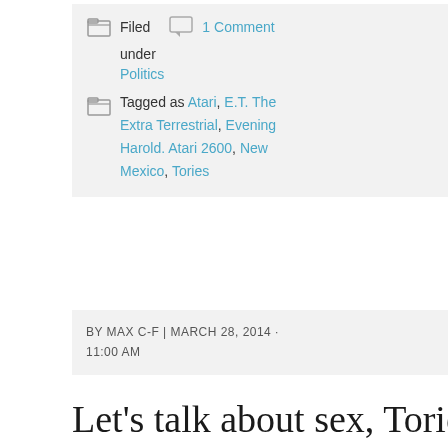Filed  1 Comment under Politics
Tagged as Atari, E.T. The Extra Terrestrial, Evening Harold. Atari 2600, New Mexico, Tories
BY MAX C-F | MARCH 28, 2014 · 11:00 AM
Let's talk about sex, Tories: disenchanted voters pine for good old-